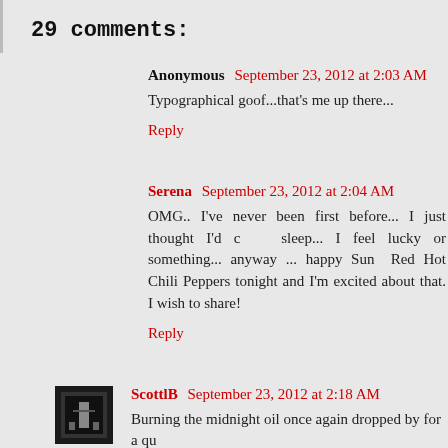29 comments:
Anonymous September 23, 2012 at 2:03 AM
Typographical goof...that's me up there...
Reply
Serena September 23, 2012 at 2:04 AM
OMG.. I've never been first before... I just thought I'd check before sleep... I feel lucky or something... anyway ... happy Sund... Red Hot Chili Peppers tonight and I'm excited about that. I wish to share!
Reply
ScottlB September 23, 2012 at 2:18 AM
Burning the midnight oil once again dropped by for a qu...